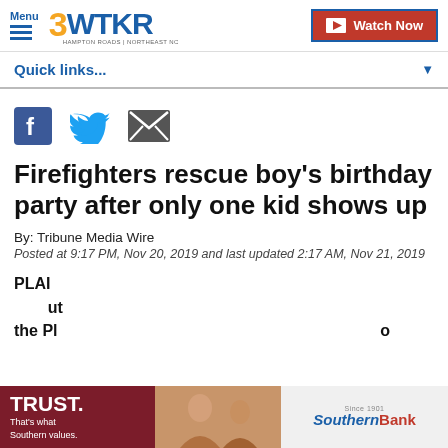3WTKR Hampton Roads | Northeast NC — Watch Now
Quick links...
[Figure (illustration): Social media share icons: Facebook (blue square with white f), Twitter (blue bird), Email (grey envelope)]
Firefighters rescue boy's birthday party after only one kid shows up
By: Tribune Media Wire
Posted at 9:17 PM, Nov 20, 2019 and last updated 2:17 AM, Nov 21, 2019
PLAI... [article text partially obscured by advertisement]
[Figure (photo): Advertisement banner: Southern Bank — TRUST. That's what Southern values. — with photo of women embracing and Southern Bank logo]